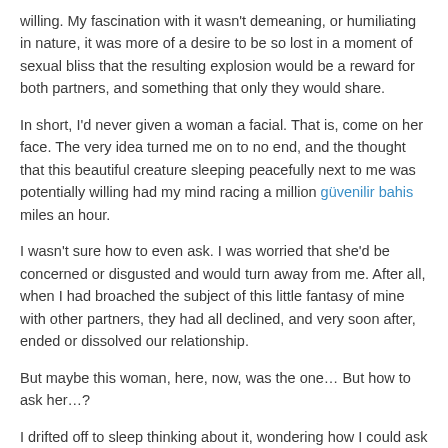willing. My fascination with it wasn't demeaning, or humiliating in nature, it was more of a desire to be so lost in a moment of sexual bliss that the resulting explosion would be a reward for both partners, and something that only they would share.
In short, I'd never given a woman a facial. That is, come on her face. The very idea turned me on to no end, and the thought that this beautiful creature sleeping peacefully next to me was potentially willing had my mind racing a million güvenilir bahis miles an hour.
I wasn't sure how to even ask. I was worried that she'd be concerned or disgusted and would turn away from me. After all, when I had broached the subject of this little fantasy of mine with other partners, they had all declined, and very soon after, ended or dissolved our relationship.
But maybe this woman, here, now, was the one… But how to ask her…?
I drifted off to sleep thinking about it, wondering how I could ask for this most intimate of favours.
***
It had been about three hours since she had gone to sleep and the clock was